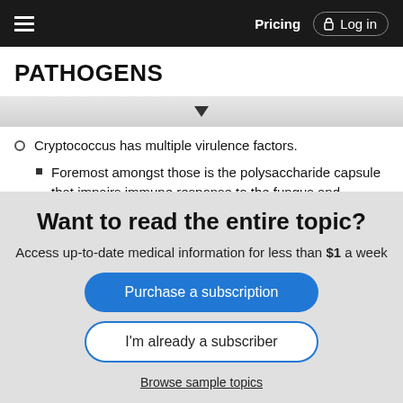Pricing  Log in
PATHOGENS
Cryptococcus has multiple virulence factors.
Foremost amongst those is the polysaccharide capsule that impairs immune response to the fungus and contributes to CNS disuse manifestations.
An effective immune response is critical to protection from infection, but an over-exuberant response is also responsible for neurological symptoms in both HIV and non-HIV patients.
Fate of infection:
Controlled via immune response and cleared, or remains in a
Want to read the entire topic?
Access up-to-date medical information for less than $1 a week
Purchase a subscription
I'm already a subscriber
Browse sample topics